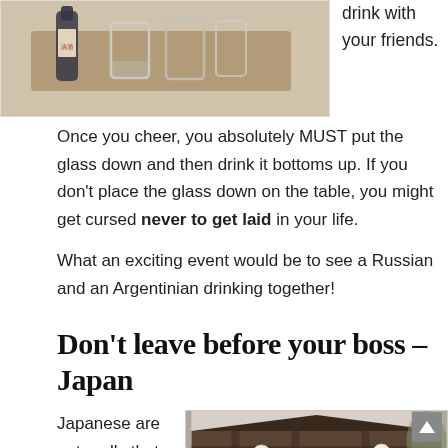[Figure (photo): Photo of sake bottle and glass cups on a wooden tray]
drink with your friends.
Once you cheer, you absolutely MUST put the glass down and then drink it bottoms up. If you don't place the glass down on the table, you might get cursed never to get laid in your life.
What an exciting event would be to see a Russian and an Argentinian drinking together!
Don't leave before your boss – Japan
Japanese are not really that much into
[Figure (photo): Photo of a traditional Japanese building exterior with lanterns and wooden facade]